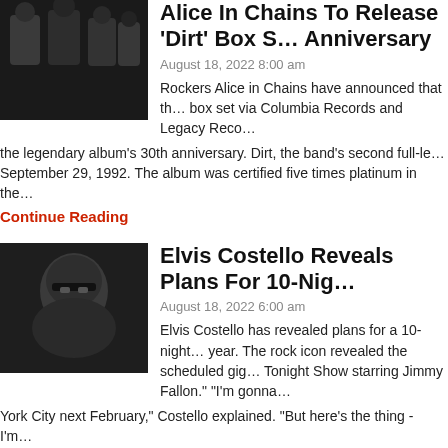[Figure (photo): Alice In Chains band members group photo, black and white]
Alice In Chains To Release 'Dirt' Box S… Anniversary
August 18, 2022 8:00 am
Rockers Alice in Chains have announced that th… box set via Columbia Records and Legacy Reco… the legendary album's 30th anniversary. Dirt, the band's second full-le… September 29, 1992. The album was certified five times platinum in the…
Continue Reading
[Figure (photo): Elvis Costello black and white portrait with glasses]
Elvis Costello Reveals Plans For 10-Nig…
August 18, 2022 6:00 am
Elvis Costello has revealed plans for a 10-night… year. The rock icon revealed the scheduled gig… Tonight Show starring Jimmy Fallon." "I'm gonna… York City next February," Costello explained. "But here's the thing - I'm…
Continue Reading
[Figure (photo): Bob Dylan performing on stage with guitar, blue lighting]
Bob Dylan's Legal Team Seeking 'Mone… Sexual Assault Accuser's Lawyers
August 18, 2022 3:00 am
Bob Dylan's legal team is reportedly seeking "m… lawyers who filed a lawsuit that alleged Dylan s… girl in 1965. According to sources, including Billboard and Pitchfork, Dy…